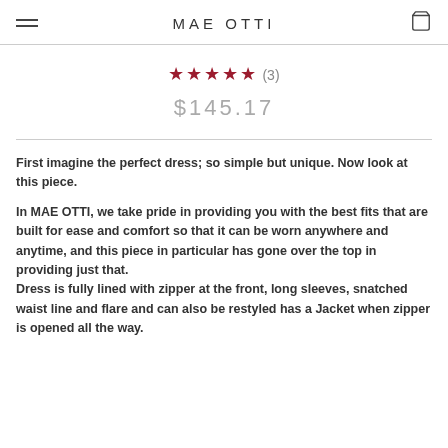MAE OTTI
★★★★★ (3)
$145.17
First imagine the perfect dress; so simple but unique. Now look at this piece.

In MAE OTTI, we take pride in providing you with the best fits that are built for ease and comfort so that it can be worn anywhere and anytime, and this piece in particular has gone over the top in providing just that.
Dress is fully lined with zipper at the front, long sleeves, snatched waist line and flare and can also be restyled has a Jacket when zipper is opened all the way.